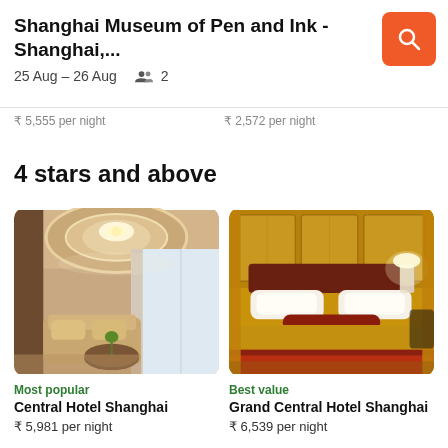Shanghai Museum of Pen and Ink - Shanghai,... | 25 Aug – 26 Aug | 2 guests
₹ 5,555 per night   ₹ 2,572 per night
4 stars and above
[Figure (photo): Hotel room interior with chandelier, sofa seating area and large windows - Central Hotel Shanghai]
Most popular
Central Hotel Shanghai
₹ 5,981 per night
[Figure (photo): Luxury hotel bedroom with golden decor, king bed and warm lighting - Grand Central Hotel Shanghai]
Best value
Grand Central Hotel Shanghai
₹ 6,539 per night